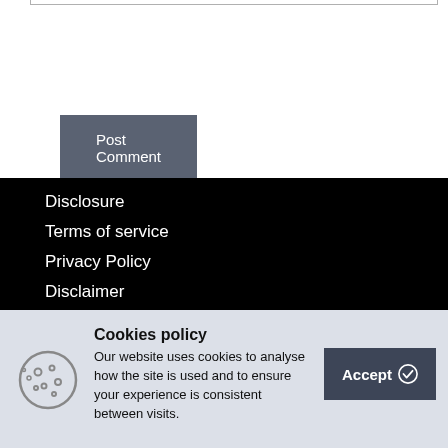[Figure (other): Partial bottom border of a text input box]
Post Comment
Disclosure
Terms of service
Privacy Policy
Disclaimer
Cookies policy
Our website uses cookies to analyse how the site is used and to ensure your experience is consistent between visits.
Accept